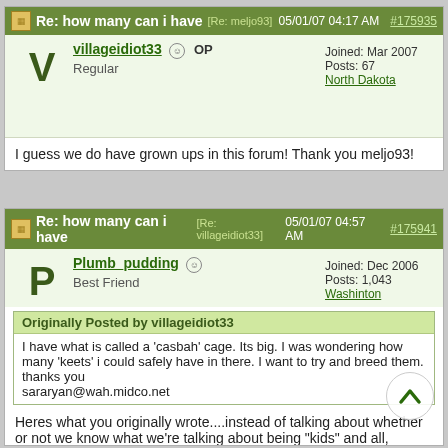Re: how many can i have [Re: meljo93] 05/01/07 04:17 AM #175935
villageidiot33 OP
Regular
Joined: Mar 2007
Posts: 67
North Dakota
I guess we do have grown ups in this forum! Thank you meljo93!
Re: how many can i have [Re: villageidiot33] 05/01/07 04:57 AM #175941
Plumb_pudding
Best Friend
Joined: Dec 2006
Posts: 1,043
Washinton
Originally Posted by villageidiot33
I have what is called a 'casbah' cage. Its big. I was wondering how many 'keets' i could safely have in there. I want to try and breed them. thanks you
sararyan@wah.midco.net
Heres what you originally wrote....instead of talking about whether or not we know what we're talking about being "kids" and all, consider how ignorant you sound. BTW the people you find on here who don't go